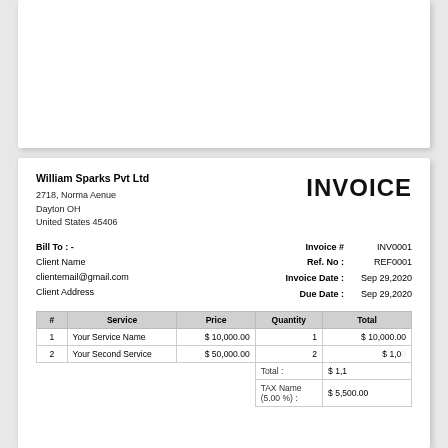INVOICE
William Sparks Pvt Ltd
2718, Norma Aenue
Dayton OH
United States 45406
Bill To : -
Client Name
clientemail@gmail.com
Client Address
Invoice # INV0001
Ref. No : REF0001
Invoice Date : Sep 29,2020
Due Date : Sep 29,2020
| # | Service | Price | Quantity | Total |
| --- | --- | --- | --- | --- |
| 1 | Your Service Name | $ 10,000.00 | 1 | $ 10,000.00 |
| 2 | Your Second Service | $ 50,000.00 | 2 | $ 1,0... |
|  |  |  | Total : | $ 1,10... |
|  |  |  | TAX Name (5.00 %) : | $ 5,500.00 |